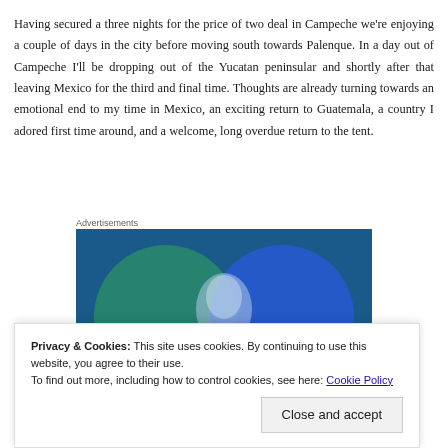Having secured a three nights for the price of two deal in Campeche we're enjoying a couple of days in the city before moving south towards Palenque. In a day out of Campeche I'll be dropping out of the Yucatan peninsular and shortly after that leaving Mexico for the third and final time. Thoughts are already turning towards an emotional end to my time in Mexico, an exciting return to Guatemala, a country I adored first time around, and a welcome, long overdue return to the tent.
Advertisements
[Figure (illustration): Advertisement banner with overlapping circles in teal/green and blue on a dark blue background]
Privacy & Cookies: This site uses cookies. By continuing to use this website, you agree to their use.
To find out more, including how to control cookies, see here: Cookie Policy
Close and accept